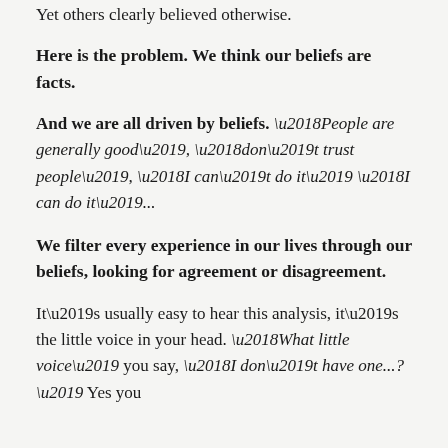Yet others clearly believed otherwise.
Here is the problem. We think our beliefs are facts.
And we are all driven by beliefs. ‘People are generally good’, ‘don’t trust people’, ‘I can’t do it’ ‘I can do it’...
We filter every experience in our lives through our beliefs, looking for agreement or disagreement.
It’s usually easy to hear this analysis, it’s the little voice in your head. ‘What little voice’ you say, ‘I don’t have one...?’ Yes you